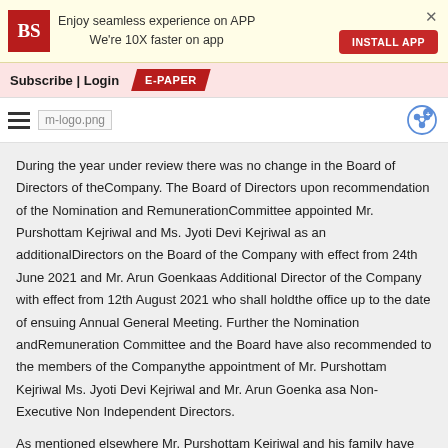[Figure (other): Business Standard app banner with BS logo, text 'Enjoy seamless experience on APP We're 10X faster on app', INSTALL APP button, and close X]
Subscribe | Login   E-PAPER
[Figure (logo): Hamburger menu icon, m-logo.png placeholder image, and share icon circle]
During the year under review there was no change in the Board of Directors of theCompany. The Board of Directors upon recommendation of the Nomination and RemunerationCommittee appointed Mr. Purshottam Kejriwal and Ms. Jyoti Devi Kejriwal as an additionalDirectors on the Board of the Company with effect from 24th June 2021 and Mr. Arun Goenkaas Additional Director of the Company with effect from 12th August 2021 who shall holdthe office up to the date of ensuing Annual General Meeting. Further the Nomination andRemuneration Committee and the Board have also recommended to the members of the Companythe appointment of Mr. Purshottam Kejriwal Ms. Jyoti Devi Kejriwal and Mr. Arun Goenka asa Non-Executive Non Independent Directors.
As mentioned elsewhere Mr. Purshottam Kejriwal and his family have